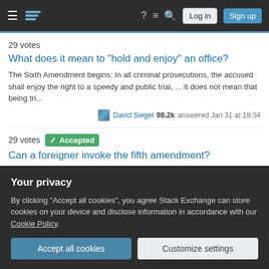Stack Exchange navigation header with Log in and Sign up buttons
29 votes
What does it mean to "hold and enjoy" an office?
The Sixth Amendment begins: In all criminal prosecutions, the accused shall enjoy the right to a speedy and public trial, ... It does not mean that being tri...
David Siegel 98.2k answered Jan 31 at 18:34
29 votes  Accepted
Can a foreigner invoke the fifth amendment?
Short Answer Bob is a non-US citizen and is visiting the USA on a tourist visa. . . . Can Bob invoke the 5th amendment to avoid self-incrimination? Yes. The...
ohwilleke 140k answered Aug 10 at 22:49
Your privacy
By clicking "Accept all cookies", you agree Stack Exchange can store cookies on your device and disclose information in accordance with our Cookie Policy.
Accept all cookies
Customize settings
Nuclear Hoagie 3,468 answered Oct 16, 2020 at 18:46